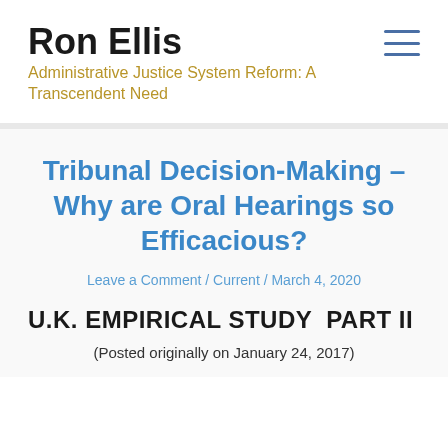Ron Ellis
Administrative Justice System Reform: A Transcendent Need
Tribunal Decision-Making – Why are Oral Hearings so Efficacious?
Leave a Comment / Current / March 4, 2020
U.K. EMPIRICAL STUDY  PART II
(Posted originally on January 24, 2017)